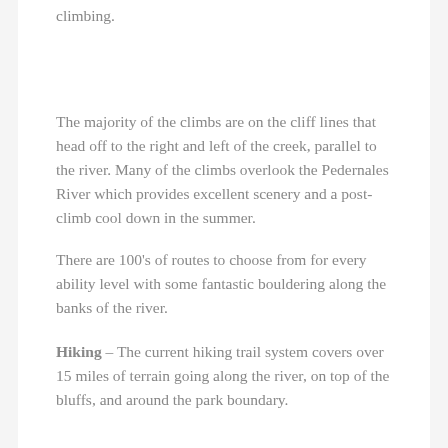climbing.
The majority of the climbs are on the cliff lines that head off to the right and left of the creek, parallel to the river. Many of the climbs overlook the Pedernales River which provides excellent scenery and a post-climb cool down in the summer.
There are 100's of routes to choose from for every ability level with some fantastic bouldering along the banks of the river.
Hiking – The current hiking trail system covers over 15 miles of terrain going along the river, on top of the bluffs, and around the park boundary.